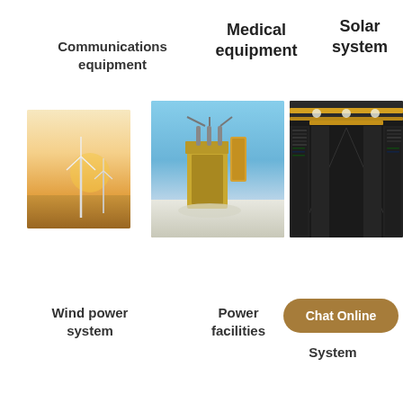Communications equipment
Medical equipment
Solar system
[Figure (photo): Wind turbines in a field at sunset with golden sky]
[Figure (photo): Power transformer/substation equipment in snow]
[Figure (photo): Data center server racks with yellow cable trays overhead]
Wind power system
Power facilities
System
Chat Online